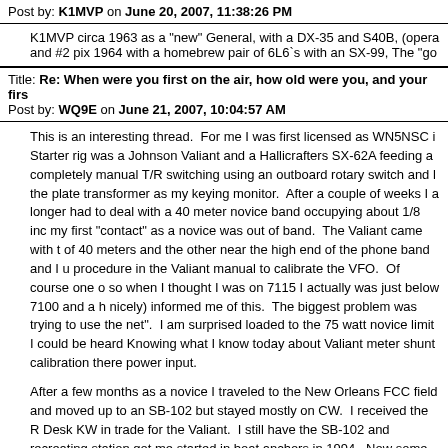Post by: K1MVP on June 20, 2007, 11:38:26 PM
K1MVP circa 1963 as a "new" General, with a DX-35 and S40B, (opera and #2 pix 1964 with a homebrew pair of 6L6`s with an SX-99, The "go
Title: Re: When were you first on the air, how old were you, and your firs Post by: WQ9E on June 21, 2007, 10:04:57 AM
This is an interesting thread.  For me I was first licensed as WN5NSC i Starter rig was a Johnson Valiant and a Hallicrafters SX-62A feeding a completely manual T/R switching using an outboard rotary switch and l the plate transformer as my keying monitor.  After a couple of weeks I a longer had to deal with a 40 meter novice band occupying about 1/8 inc my first "contact" as a novice was out of band.  The Valiant came with t of 40 meters and the other near the high end of the phone band and I u procedure in the Valiant manual to calibrate the VFO.  Of course one o so when I thought I was on 7115 I actually was just below 7100 and a h nicely) informed me of this.  The biggest problem was trying to use the net".  I am surprised loaded to the 75 watt novice limit I could be heard Knowing what I know today about Valiant meter shunt calibration there power input.
After a few months as a novice I traveled to the New Orleans FCC field and moved up to an SB-102 but stayed mostly on CW.  I received the R Desk KW in trade for the Valiant.  I still have the SB-102 and recreating station got me started in boat anchors in 1994.  Now some 150 pieces have a complete and operating Desk KW along with the Viking 500 big
Rodger WQ9E